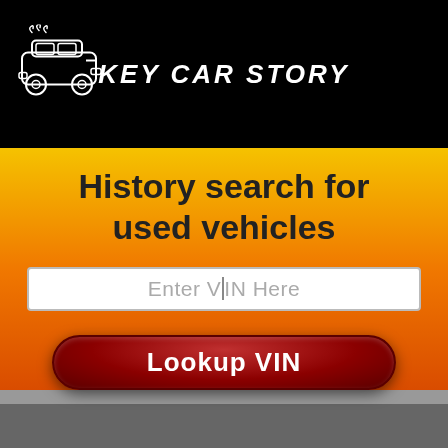KEY CAR STORY
History search for used vehicles
Enter VIN Here
Lookup VIN
Home / Toyota / Tundra / 2011 / 5TFDW5F12BX206833